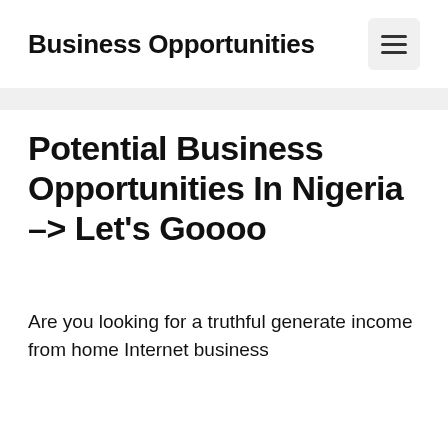Business Opportunities
Potential Business Opportunities In Nigeria –> Let's Goooo
Are you looking for a truthful generate income from home Internet business chance? The bright side exists...